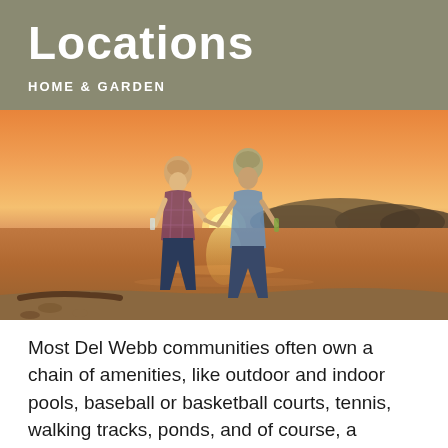Locations
HOME & GARDEN
[Figure (photo): A couple walking barefoot along a lakeshore at sunset, holding drinks and wearing hats. Warm orange sky reflects on the calm water.]
Most Del Webb communities often own a chain of amenities, like outdoor and indoor pools, baseball or basketball courts, tennis, walking tracks, ponds, and of course, a community center. However, instead of going